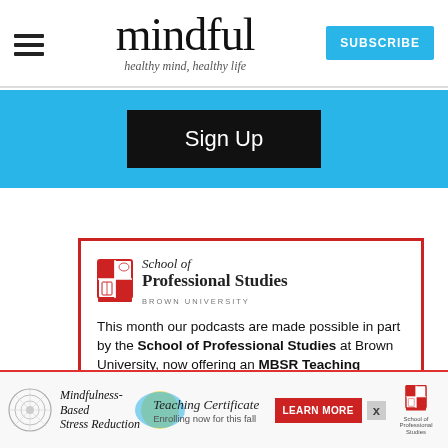mindful — healthy mind, healthy life — SUBSCRIBE
Sign Up
[Figure (logo): School of Professional Studies, Brown University shield logo with red cross and open book]
This month our podcasts are made possible in part by the School of Professional Studies at Brown University, now offering an MBSR Teaching Certificate
[Figure (infographic): Bottom advertisement bar: Mindfulness-Based Stress Reduction Teaching Certificate - Enrolling now for this fall, with Learn More button and School of Professional Studies logo]